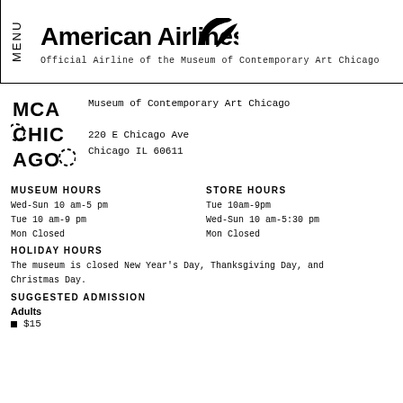MENU
[Figure (logo): American Airlines logo with stylized eagle/wing graphic]
Official Airline of the Museum of Contemporary Art Chicago
[Figure (logo): MCA Chicago stacked logo in bold uppercase letters]
Museum of Contemporary Art Chicago
220 E Chicago Ave
Chicago IL 60611
MUSEUM HOURS
Wed-Sun 10 am-5 pm
Tue 10 am-9 pm
Mon Closed
STORE HOURS
Tue 10am-9pm
Wed-Sun 10 am-5:30 pm
Mon Closed
HOLIDAY HOURS
The museum is closed New Year's Day, Thanksgiving Day, and Christmas Day.
SUGGESTED ADMISSION
Adults
$15